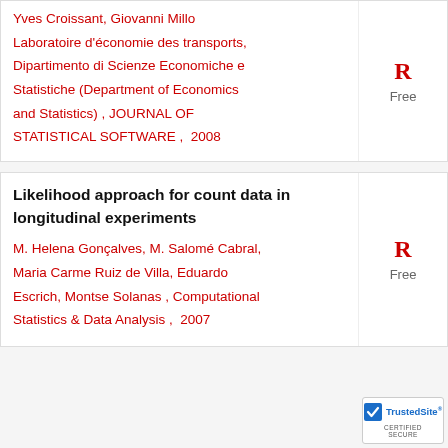Yves Croissant, Giovanni Millo  Laboratoire d'économie des transports, Dipartimento di Scienze Economiche e Statistiche (Department of Economics and Statistics) , JOURNAL OF STATISTICAL SOFTWARE ,  2008
Likelihood approach for count data in longitudinal experiments
M. Helena Gonçalves, M. Salomé Cabral,  Maria Carme Ruiz de Villa, Eduardo Escrich, Montse Solanas , Computational Statistics & Data Analysis ,  2007